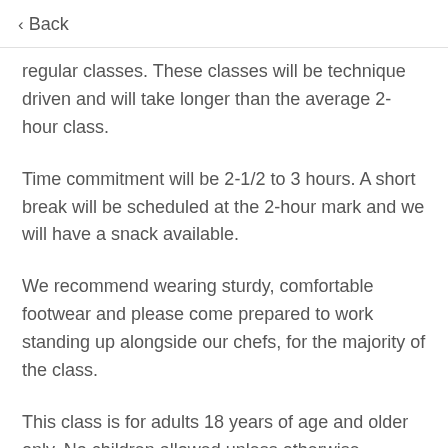< Back
regular classes. These classes will be technique driven and will take longer than the average 2-hour class.
Time commitment will be 2-1/2 to 3 hours. A short break will be scheduled at the 2-hour mark and we will have a snack available.
We recommend wearing sturdy, comfortable footwear and please come prepared to work standing up alongside our chefs, for the majority of the class.
This class is for adults 18 years of age and older only. No children allowed unless otherwise specified.